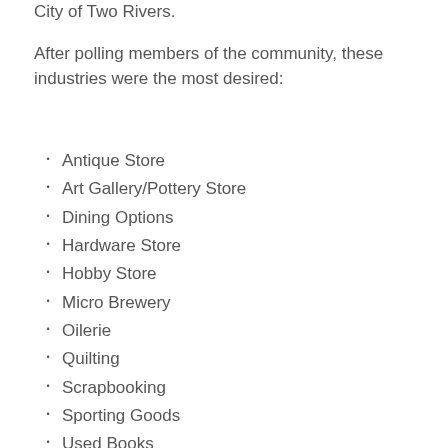City of Two Rivers.
After polling members of the community, these industries were the most desired:
Antique Store
Art Gallery/Pottery Store
Dining Options
Hardware Store
Hobby Store
Micro Brewery
Oilerie
Quilting
Scrapbooking
Sporting Goods
Used Books
Wi…